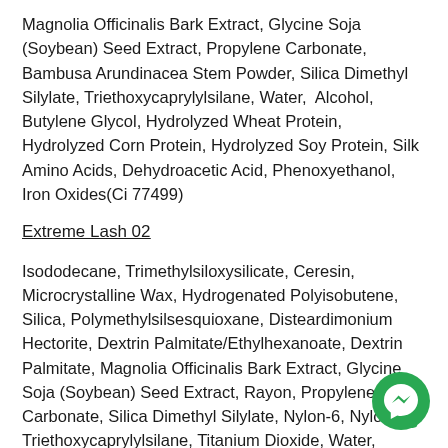Magnolia Officinalis Bark Extract, Glycine Soja (Soybean) Seed Extract, Propylene Carbonate, Bambusa Arundinacea Stem Powder, Silica Dimethyl Silylate, Triethoxycaprylylsilane, Water, Alcohol, Butylene Glycol, Hydrolyzed Wheat Protein, Hydrolyzed Corn Protein, Hydrolyzed Soy Protein, Silk Amino Acids, Dehydroacetic Acid, Phenoxyethanol, Iron Oxides(Ci 77499)
Extreme Lash 02
Isododecane, Trimethylsiloxysilicate, Ceresin, Microcrystalline Wax, Hydrogenated Polyisobutene, Silica, Polymethylsilsesquioxane, Disteardimonium Hectorite, Dextrin Palmitate/Ethylhexanoate, Dextrin Palmitate, Magnolia Officinalis Bark Extract, Glycine Soja (Soybean) Seed Extract, Rayon, Propylene Carbonate, Silica Dimethyl Silylate, Nylon-6, Nylon-66, Triethoxycaprylylsilane, Titanium Dioxide, Water, Alcohol, Butylene Glycol,